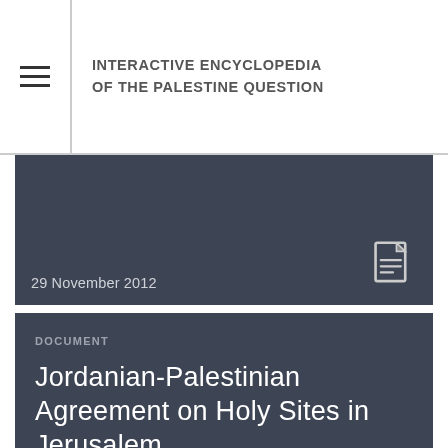INTERACTIVE ENCYCLOPEDIA OF THE PALESTINE QUESTION
29 November 2012
DOCUMENT
Jordanian-Palestinian Agreement on Holy Sites in Jerusalem